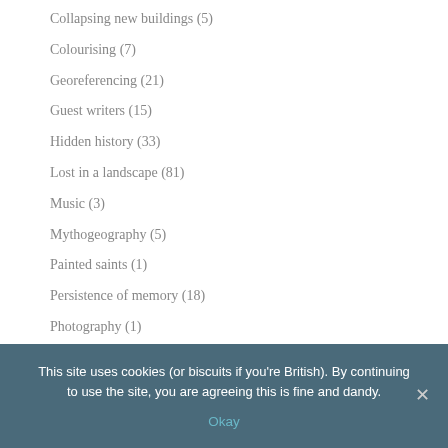Collapsing new buildings (5)
Colourising (7)
Georeferencing (21)
Guest writers (15)
Hidden history (33)
Lost in a landscape (81)
Music (3)
Mythogeography (5)
Painted saints (1)
Persistence of memory (18)
Photography (1)
Rephotography (66)
This site uses cookies (or biscuits if you're British). By continuing to use the site, you are agreeing this is fine and dandy.
Okay